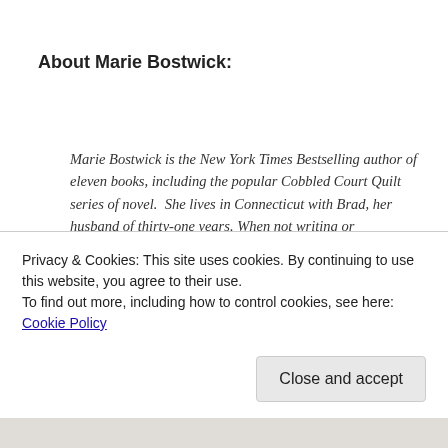About Marie Bostwick:
Marie Bostwick is the New York Times Bestselling author of eleven books, including the popular Cobbled Court Quilt series of novel.  She lives in Connecticut with Brad, her husband of thirty-one years. When not writing or volunteering for her church, she enjoys quilting, gardening, reading, watching movies, spending time with her friends and family, and especially playing with her grandsons. Marie travels extensively, speaking at
Privacy & Cookies: This site uses cookies. By continuing to use this website, you agree to their use.
To find out more, including how to control cookies, see here: Cookie Policy